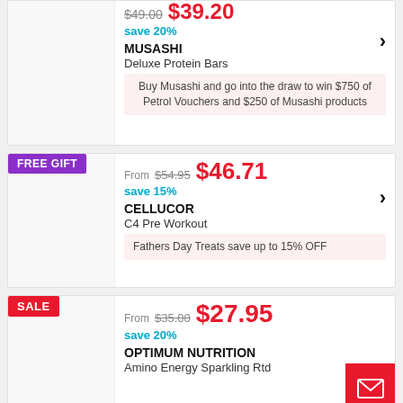$49.00 (strikethrough) $39.20 save 20%
MUSASHI Deluxe Protein Bars
Buy Musashi and go into the draw to win $750 of Petrol Vouchers and $250 of Musashi products
FREE GIFT
From $54.95 $46.71 save 15%
CELLUCOR C4 Pre Workout
Fathers Day Treats save up to 15% OFF
SALE
From $35.00 $27.95 save 20%
OPTIMUM NUTRITION Amino Energy Sparkling Rtd